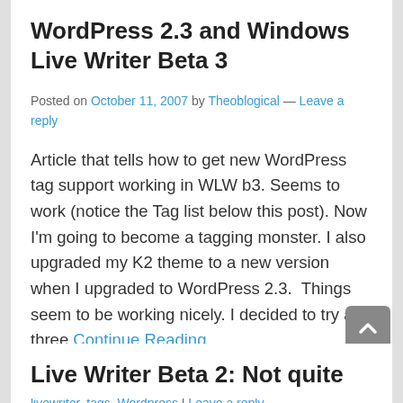WordPress 2.3 and Windows Live Writer Beta 3
Posted on October 11, 2007 by Theoblogical — Leave a reply
Article that tells how to get new WordPress tag support working in WLW b3. Seems to work (notice the Tag list below this post). Now I'm going to become a tagging monster. I also upgraded my K2 theme to a new version when I upgraded to WordPress 2.3.  Things seem to be working nicely. I decided to try a three Continue Reading
Posted in Uncategorized | Tagged bloggingStuff, Live Writer, livewriter, tags, Wordpress | Leave a reply
Live Writer Beta 2: Not quite